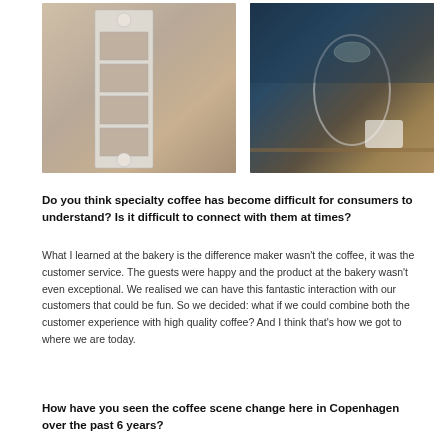[Figure (photo): Two photos side by side: left photo shows a photo booth strip of headshots attached to a metallic surface; right photo shows a glass dome jar with moss, a white latte art cup on a wooden table in a cafe with dark blue walls.]
Do you think specialty coffee has become difficult for consumers to understand? Is it difficult to connect with them at times?
What I learned at the bakery is the difference maker wasn’t the coffee, it was the customer service. The guests were happy and the product at the bakery wasn’t even exceptional. We realised we can have this fantastic interaction with our customers that could be fun. So we decided: what if we could combine both the customer experience with high quality coffee? And I think that’s how we got to where we are today.
How have you seen the coffee scene change here in Copenhagen over the past 6 years?